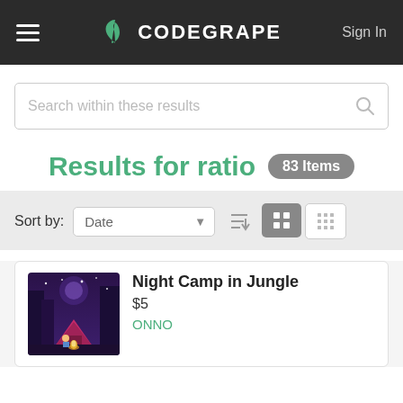CODEGRAPE — Sign In
Search within these results
Results for ratio 83 Items
Sort by: Date
Night Camp in Jungle
$5
ONNO